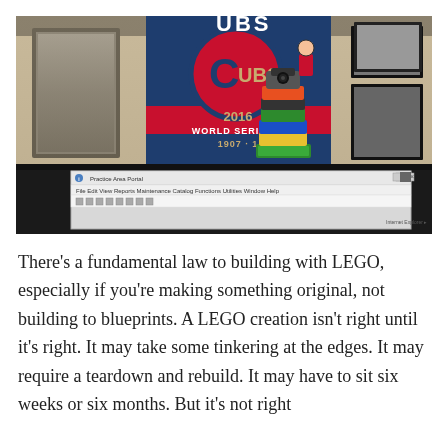[Figure (photo): A photo showing a Cubs 2016 World Series Champions banner on a wall, a LEGO creation with a webcam on top, framed photographs on a beige wall to the right, and the bottom portion shows a computer monitor/screen with a software application open.]
There's a fundamental law to building with LEGO, especially if you're making something original, not building to blueprints. A LEGO creation isn't right until it's right. It may take some tinkering at the edges. It may require a teardown and rebuild. It may have to sit six weeks or six months. But it's not right